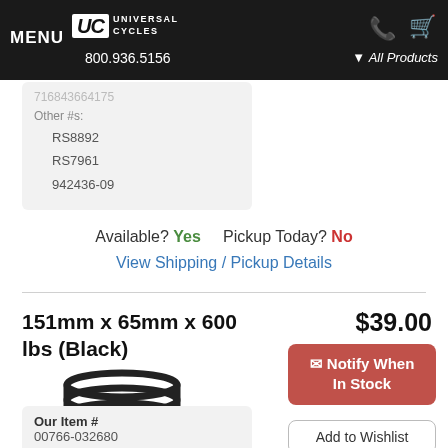MENU UC UNIVERSAL CYCLES 800.936.5156 All Products
716843664175
Other #s:
RS8892
RS7961
942436-09
Available? Yes   Pickup Today? No
View Shipping / Pickup Details
151mm x 65mm x 600 lbs (Black)
[Figure (photo): Black coil spring for bicycle suspension]
$39.00
✉ Notify When In Stock
Add to Wishlist
Our Item #
00766-032680